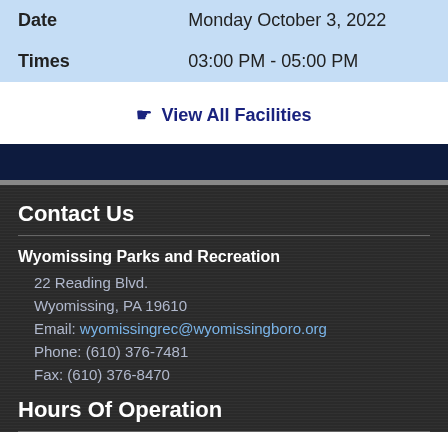|  |  |
| --- | --- |
| Date | Monday October 3, 2022 |
| Times | 03:00 PM - 05:00 PM |
🖱 View All Facilities
Contact Us
Wyomissing Parks and Recreation
22 Reading Blvd.
Wyomissing, PA 19610
Email: wyomissingrec@wyomissingboro.org
Phone: (610) 376-7481
Fax: (610) 376-8470
Hours Of Operation